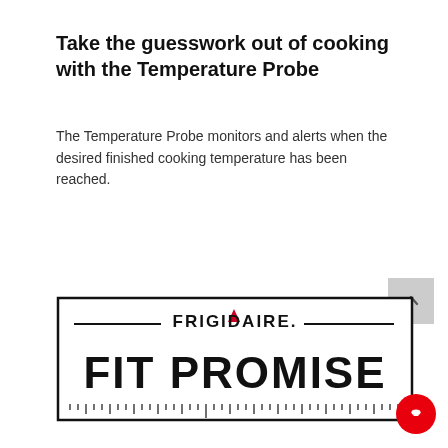Take the guesswork out of cooking with the Temperature Probe
The Temperature Probe monitors and alerts when the desired finished cooking temperature has been reached.
[Figure (logo): Frigidaire Fit Promise logo — rectangular border with ruler tick marks along the bottom, 'FRIGIDAIRE.' brand name centered at top with a small red triangle (the letter A), and 'FIT PROMISE' in large bold letters below]